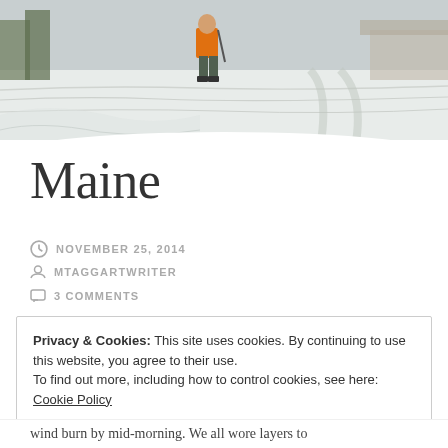[Figure (photo): A person wearing an orange jacket standing on a snowy road or driveway in a winter landscape, with trees and a building in the background.]
Maine
NOVEMBER 25, 2014
MTAGGARTWRITER
3 COMMENTS
Privacy & Cookies: This site uses cookies. By continuing to use this website, you agree to their use.
To find out more, including how to control cookies, see here: Cookie Policy
Close and accept
wind burn by mid-morning. We all wore layers to